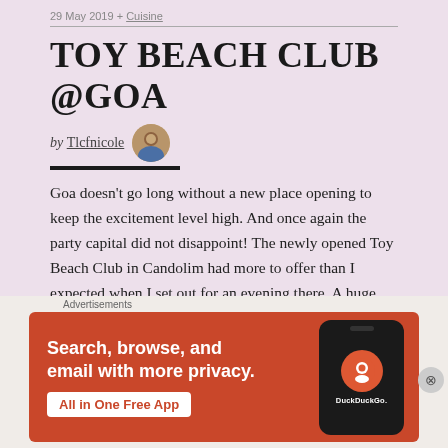29 May 2019 + Cuisine
TOY BEACH CLUB @GOA
by Tlcfnicole
Goa doesn't go long without a new place opening to keep the excitement level high. And once again the party capital did not disappoint! The newly opened Toy Beach Club in Candolim had more to offer than I expected when I set out for an evening there. A huge property transformed into a lavish beach club with beautiful sea view around. A
[Figure (other): DuckDuckGo advertisement banner with orange background showing a smartphone and text 'Search, browse, and email with more privacy. All in One Free App']